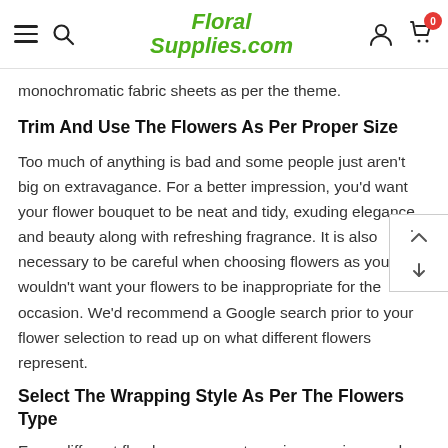FloralSupplies.com
monochromatic fabric sheets as per the theme.
Trim And Use The Flowers As Per Proper Size
Too much of anything is bad and some people just aren't big on extravagance. For a better impression, you'd want your flower bouquet to be neat and tidy, exuding elegance and beauty along with refreshing fragrance. It is also necessary to be careful when choosing flowers as you wouldn't want your flowers to be inappropriate for the occasion. We'd recommend a Google search prior to your flower selection to read up on what different flowers represent.
Select The Wrapping Style As Per The Flowers Type
Every different floral arrangement requires a unique and special design. The wrapping technique should be altered keeping into consideration the size and type of blooms being used. If done